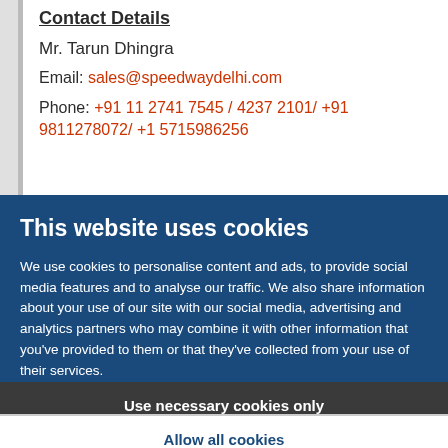Contact Details
Mr. Tarun Dhingra
Email: sales@speedwaydelhi.com
Phone: +91 11 2741 7545 / 4237 2101/ +91 9811278072/ +1 5715986256
This website uses cookies
We use cookies to personalise content and ads, to provide social media features and to analyse our traffic. We also share information about your use of our site with our social media, advertising and analytics partners who may combine it with other information that you've provided to them or that they've collected from your use of their services.
Use necessary cookies only
Allow all cookies